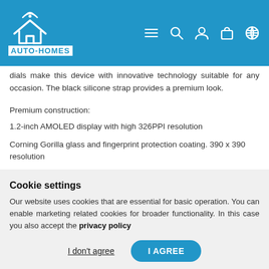AUTO-HOMES
dials make this device with innovative technology suitable for any occasion. The black silicone strap provides a premium look.
Premium construction:
1.2-inch AMOLED display with high 326PPI resolution
Corning Gorilla glass and fingerprint protection coating. 390 x 390 resolution
5 ATM water resistance to ensure normal use up to 50 meters water pressure.
Cookie settings
Our website uses cookies that are essential for basic operation. You can enable marketing related cookies for broader functionality. In this case you also accept the privacy policy